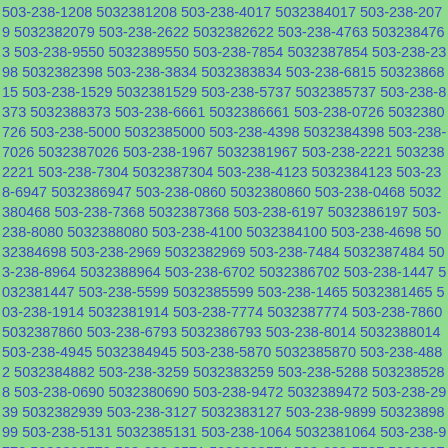503-238-1208 5032381208 503-238-4017 5032384017 503-238-2079 5032382079 503-238-2622 5032382622 503-238-4763 5032384763 503-238-9550 5032389550 503-238-7854 5032387854 503-238-2398 5032382398 503-238-3834 5032383834 503-238-6815 5032386815 503-238-1529 5032381529 503-238-5737 5032385737 503-238-8373 5032388373 503-238-6661 5032386661 503-238-0726 5032380726 503-238-5000 5032385000 503-238-4398 5032384398 503-238-7026 5032387026 503-238-1967 5032381967 503-238-2221 5032382221 503-238-7304 5032387304 503-238-4123 5032384123 503-238-6947 5032386947 503-238-0860 5032380860 503-238-0468 5032380468 503-238-7368 5032387368 503-238-6197 5032386197 503-238-8080 5032388080 503-238-4100 5032384100 503-238-4698 5032384698 503-238-2969 5032382969 503-238-7484 5032387484 503-238-8964 5032388964 503-238-6702 5032386702 503-238-1447 5032381447 503-238-5599 5032385599 503-238-1465 5032381465 503-238-1914 5032381914 503-238-7774 5032387774 503-238-7860 5032387860 503-238-6793 5032386793 503-238-8014 5032388014 503-238-4945 5032384945 503-238-5870 5032385870 503-238-4882 5032384882 503-238-3259 5032383259 503-238-5288 5032385288 503-238-0690 5032380690 503-238-9472 5032389472 503-238-2939 5032382939 503-238-3127 5032383127 503-238-9899 5032389899 503-238-5131 5032385131 503-238-1064 5032381064 503-238-9772 5032389772 503-238-3571 5032383571 503-238-7537 5032387537 503-238-9241 5032389241 503-238-9310 5032389310 503-238-2516 5032382516 503-238-5793 5032385793 503-238-4883 5032384883 503-238-4553